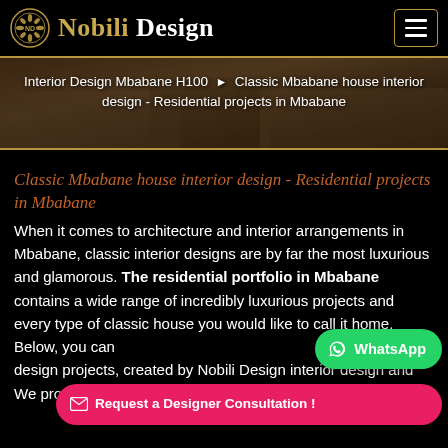Nobili Design
[Figure (screenshot): Hero banner with blurred interior design room photo showing living room with classic furniture, used as breadcrumb background]
Interior Design Mbabane H100 ▶ Classic Mbabane house interior design - Residential projects in Mbabane
Classic Mbabane house interior design - Residential projects in Mbabane
When it comes to architecture and interior arrangements in Mbabane, classic interior designs are by far the most luxurious and glamorous. The residential portfolio in Mbabane contains a wide range of incredibly luxurious projects and every type of classic house you would like to call it home. Below, you can interior design projects, created by Nobili Design interior design and We provide our 3D interior